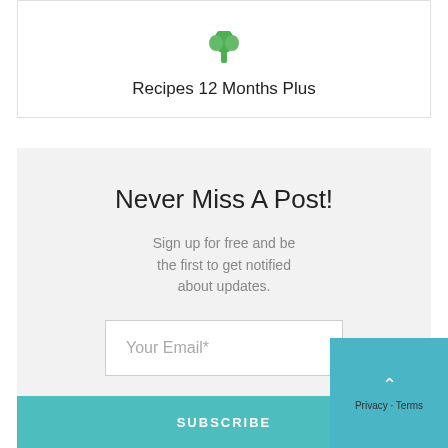[Figure (illustration): Green broccoli/vegetable icon at top of card]
Recipes 12 Months Plus
Never Miss A Post!
Sign up for free and be the first to get notified about updates.
Your Email*
SUBSCRIBE